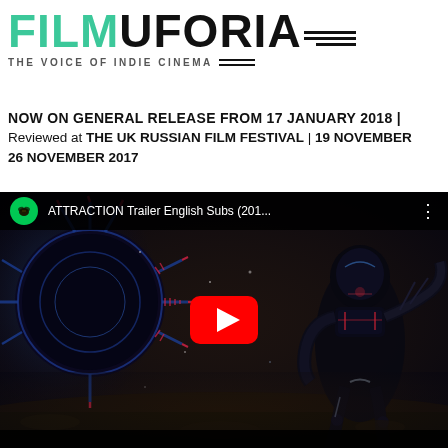FILMUFORIA_ THE VOICE OF INDIE CINEMA
NOW ON GENERAL RELEASE FROM 17 JANUARY 2018 | Reviewed at THE UK RUSSIAN FILM FESTIVAL | 19 NOVEMBER 26 NOVEMBER 2017
[Figure (screenshot): YouTube video thumbnail for 'ATTRACTION Trailer English Subs (201...' showing sci-fi alien imagery with a large tentacled spacecraft on the left and an armored alien figure on the right, with a red YouTube play button in the center.]